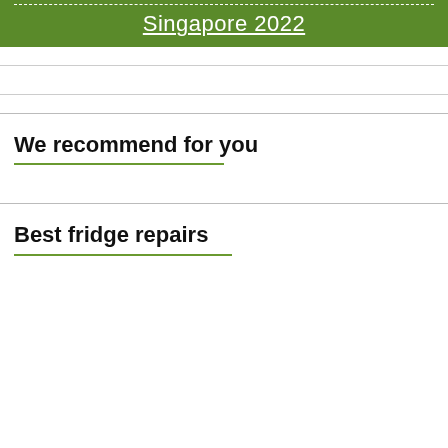Singapore 2022
We recommend for you
Best fridge repairs